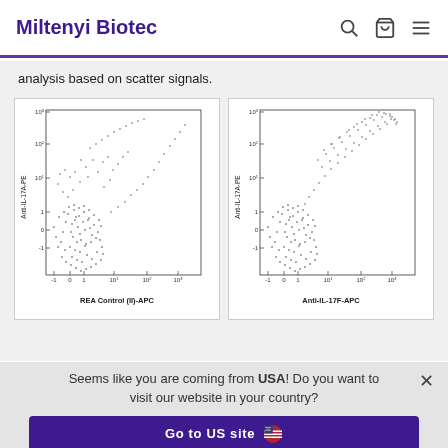Miltenyi Biotec
analysis based on scatter signals.
[Figure (continuous-plot): Flow cytometry scatter plot showing Anti-IL-17A-PE vs REA Control (II)-APC. Dense cluster of cells near origin (negative control).]
[Figure (continuous-plot): Flow cytometry scatter plot showing Anti-IL-17A-PE vs Anti-IL-17F-APC. Dense cluster at origin with scattered population of positive cells.]
Seems like you are coming from USA! Do you want to visit our website in your country?
Go to US site
Stay on Spanish site